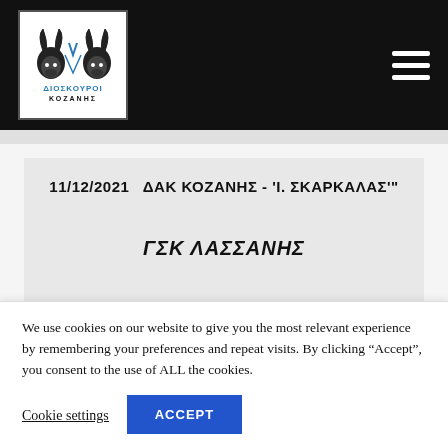[Figure (logo): Dioskouroi Kozanis club logo — two goat heads with horns, text ΔΙΟΣΚΟΥΡΟΙ in blue and ΚΟΖΑΝΗΣ in black below]
11/12/2021  ΔΑΚ ΚΟΖΑΝΗΣ - 'Ι. ΣΚΑΡΚΑΛΑΣ'
ΓΣΚ ΛΑΣΣΑΝΗΣ
We use cookies on our website to give you the most relevant experience by remembering your preferences and repeat visits. By clicking "Accept", you consent to the use of ALL the cookies.
Cookie settings
ACCEPT